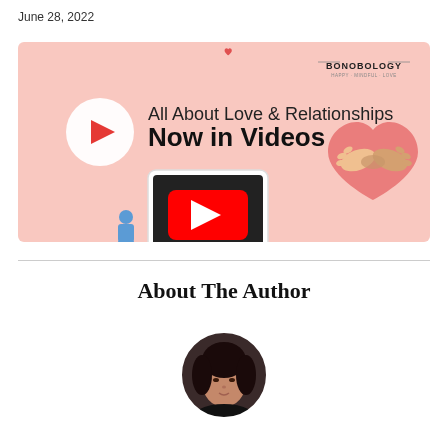June 28, 2022
[Figure (illustration): Bonobology banner: All About Love & Relationships Now in Videos. Pink background with YouTube play button icon on a tablet, a person sitting, a heart with clasped hands, and the Bonobology logo in the top right corner.]
About The Author
[Figure (photo): Circular author photo showing a woman with dark hair against a dark background, cropped into a circle.]